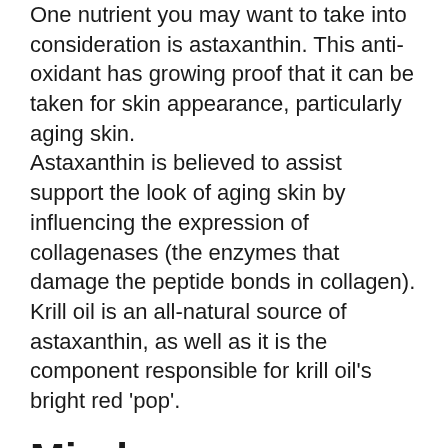One nutrient you may want to take into consideration is astaxanthin. This anti-oxidant has growing proof that it can be taken for skin appearance, particularly aging skin.
Astaxanthin is believed to assist support the look of aging skin by influencing the expression of collagenases (the enzymes that damage the peptide bonds in collagen).
Krill oil is an all-natural source of astaxanthin, as well as it is the component responsible for krill oil's bright red 'pop'.
Mind.
A higher intake of omega-3 fatty acids EPA and DHA has actually revealed possible in sustaining cognitive function, particularly for